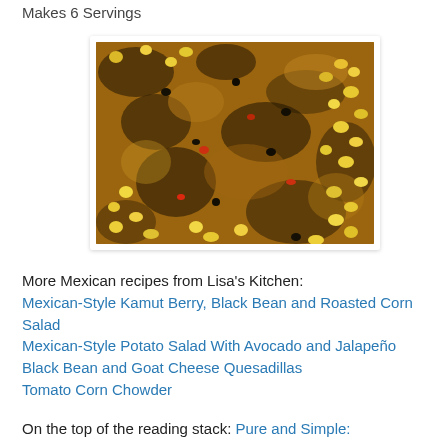Makes 6 Servings
[Figure (photo): Close-up photo of a cooked Mexican dish with corn kernels, black beans, red peppers, and seasoned ground mixture in shades of brown, black, and yellow.]
More Mexican recipes from Lisa's Kitchen:
Mexican-Style Kamut Berry, Black Bean and Roasted Corn Salad
Mexican-Style Potato Salad With Avocado and Jalapeño
Black Bean and Goat Cheese Quesadillas
Tomato Corn Chowder
On the top of the reading stack: Pure and Simple: